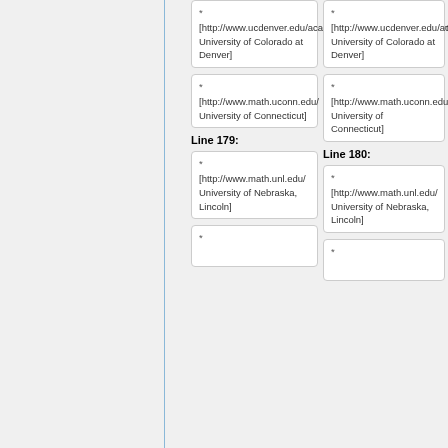* [http://www.ucdenver.edu/academics/colleges/CLAS/Departments/math/Pages/MathStats.aspx University of Colorado at Denver]
* [http://www.ucdenver.edu/academics/colleges/CLAS/Departments/math/Pages/MathStats.aspx University of Colorado at Denver]
* [http://www.math.uconn.edu/ University of Connecticut]
* [http://www.math.uconn.edu/ University of Connecticut]
Line 179:
Line 180:
* [http://www.math.unl.edu/ University of Nebraska, Lincoln]
* [http://www.math.unl.edu/ University of Nebraska, Lincoln]
*
*